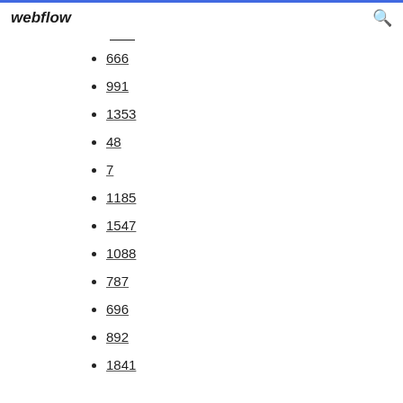webflow
666
991
1353
48
7
1185
1547
1088
787
696
892
1841